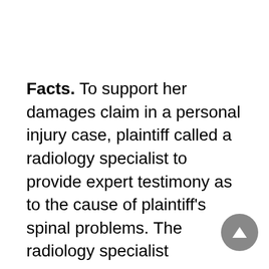Facts. To support her damages claim in a personal injury case, plaintiff called a radiology specialist to provide expert testimony as to the cause of plaintiff's spinal problems. The radiology specialist attempted to provide intestine experience…